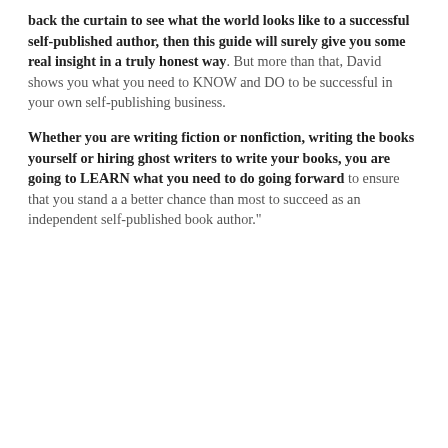back the curtain to see what the world looks like to a successful self-published author, then this guide will surely give you some real insight in a truly honest way. But more than that, David shows you what you need to KNOW and DO to be successful in your own self-publishing business.
Whether you are writing fiction or nonfiction, writing the books yourself or hiring ghost writers to write your books, you are going to LEARN what you need to do going forward to ensure that you stand a a better chance than most to succeed as an independent self-published book author."